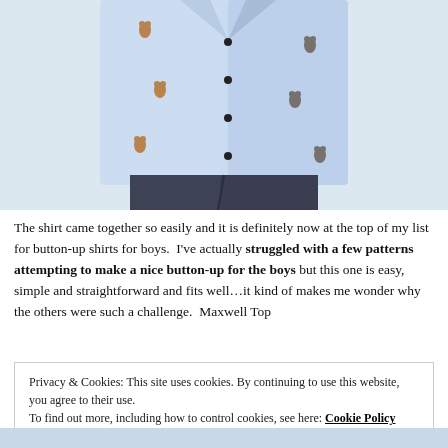[Figure (photo): Child wearing a light blue button-up shirt with small bear/cat print pattern, paired with dark jeans, standing against a white wall]
The shirt came together so easily and it is definitely now at the top of my list for button-up shirts for boys. I've actually struggled with a few patterns attempting to make a nice button-up for the boys but this one is easy, simple and straightforward and fits well…it kind of makes me wonder why the others were such a challenge. Maxwell Top
Privacy & Cookies: This site uses cookies. By continuing to use this website, you agree to their use.
To find out more, including how to control cookies, see here: Cookie Policy
Close and accept